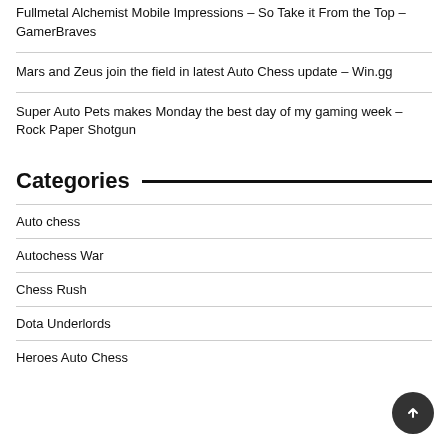Fullmetal Alchemist Mobile Impressions – So Take it From the Top – GamerBraves
Mars and Zeus join the field in latest Auto Chess update – Win.gg
Super Auto Pets makes Monday the best day of my gaming week – Rock Paper Shotgun
Categories
Auto chess
Autochess War
Chess Rush
Dota Underlords
Heroes Auto Chess